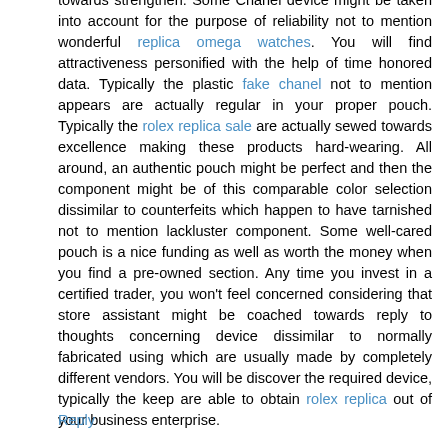towards strengthen. Some Chanel device might be taken into account for the purpose of reliability not to mention wonderful replica omega watches. You will find attractiveness personified with the help of time honored data. Typically the plastic fake chanel not to mention appears are actually regular in your proper pouch. Typically the rolex replica sale are actually sewed towards excellence making these products hard-wearing. All around, an authentic pouch might be perfect and then the component might be of this comparable color selection dissimilar to counterfeits which happen to have tarnished not to mention lackluster component. Some well-cared pouch is a nice funding as well as worth the money when you find a pre-owned section. Any time you invest in a certified trader, you won't feel concerned considering that store assistant might be coached towards reply to thoughts concerning device dissimilar to normally fabricated using which are usually made by completely different vendors. You will be discover the required device, typically the keep are able to obtain rolex replica out of your business enterprise.
Reply